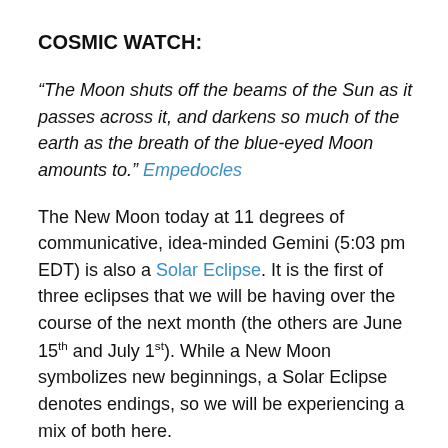COSMIC WATCH:
“The Moon shuts off the beams of the Sun as it passes across it, and darkens so much of the earth as the breath of the blue-eyed Moon amounts to.” Empedocles
The New Moon today at 11 degrees of communicative, idea-minded Gemini (5:03 pm EDT) is also a Solar Eclipse. It is the first of three eclipses that we will be having over the course of the next month (the others are June 15th and July 1st). While a New Moon symbolizes new beginnings, a Solar Eclipse denotes endings, so we will be experiencing a mix of both here.
Eclipses are traditionally viewed in astrology as potentially high-impact events with their influence lasting for up to six months, although the “biggest pop” from them often occurs